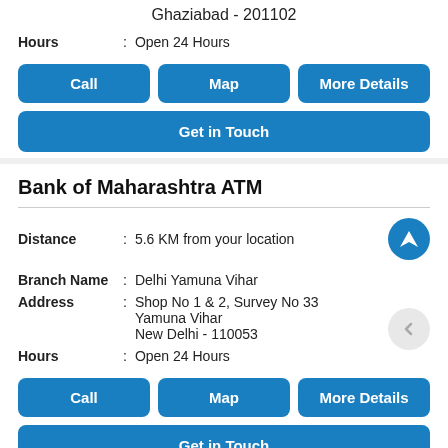Ghaziabad - 201102
Hours : Open 24 Hours
Call | Map | More Details
Get in Touch
Bank of Maharashtra ATM
Distance : 5.6 KM from your location
Branch Name : Delhi Yamuna Vihar
Address : Shop No 1 & 2, Survey No 33 Yamuna Vihar New Delhi - 110053
Hours : Open 24 Hours
Call | Map | More Details
Get in Touch